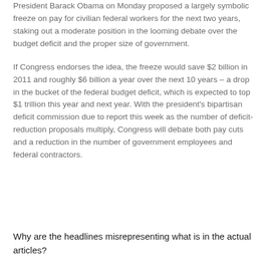President Barack Obama on Monday proposed a largely symbolic freeze on pay for civilian federal workers for the next two years, staking out a moderate position in the looming debate over the budget deficit and the proper size of government.
If Congress endorses the idea, the freeze would save $2 billion in 2011 and roughly $6 billion a year over the next 10 years – a drop in the bucket of the federal budget deficit, which is expected to top $1 trillion this year and next year. With the president's bipartisan deficit commission due to report this week as the number of deficit-reduction proposals multiply, Congress will debate both pay cuts and a reduction in the number of government employees and federal contractors.
Why are the headlines misrepresenting what is in the actual articles?